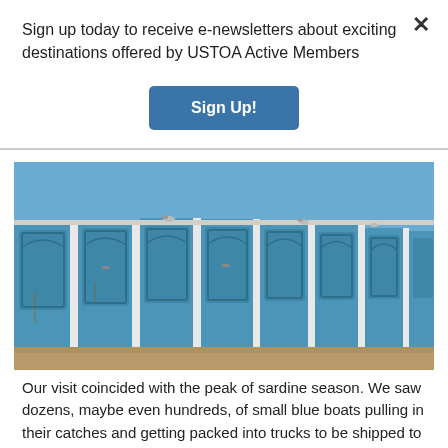Sign up today to receive e-newsletters about exciting destinations offered by USTOA Active Members
Sign Up!
[Figure (photo): A row of weathered blue painted wooden storage doors/lockers with white borders, birds perched on top, under a clear blue sky, with sandy ground in front]
Our visit coincided with the peak of sardine season. We saw dozens, maybe even hundreds, of small blue boats pulling in their catches and getting packed into trucks to be shipped to